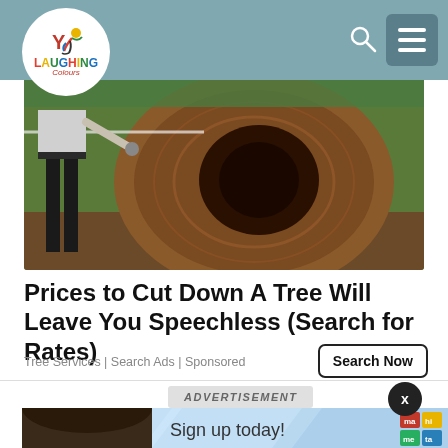Laughing Colours
[Figure (photo): Person in black jeans standing next to a very large cut tree trunk cross-section, outdoors with green vegetation in background]
Prices to Cut Down A Tree Will Leave You Speechless (Search for Rates)
Tree Services | Search Ads | Sponsored
ADVERTISEMENT
[Figure (photo): Advertisement banner with person with dark hair, blue geometric background, text 'Sign up today!' and a colorful logo grid (ma, hi, me, ta)]